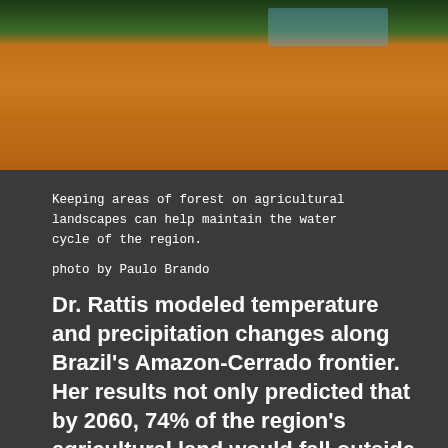[Figure (photo): Aerial or ground-level view of a large agricultural field with reddish-brown soil, with a strip of green vegetation and water visible in the upper portion of the image.]
Keeping areas of forest on agricultural landscapes can help maintain the water cycle of the region.

photo by Paulo Brando
Dr. Rattis modeled temperature and precipitation changes along Brazil's Amazon-Cerrado frontier. Her results not only predicted that by 2060, 74% of the region's agricultural land would fall outside of the ideal range of suitability for